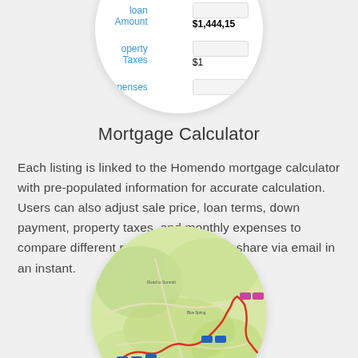[Figure (screenshot): Circular cropped screenshot of a mortgage calculator UI showing Down Payment 15% $254,850, Loan Amount $1,444,15[x], Property Taxes $1[x], and Expenses fields]
Mortgage Calculator
Each listing is linked to the Homendo mortgage calculator with pre-populated information for accurate calculation. Users can also adjust sale price, loan terms, down payment, property taxes, and monthly expenses to compare different results that they can share via email in an instant.
[Figure (map): Circular cropped map image showing a geographic area with a red route/path drawn on it, with blue and pink markers, on a green/beige terrain background]